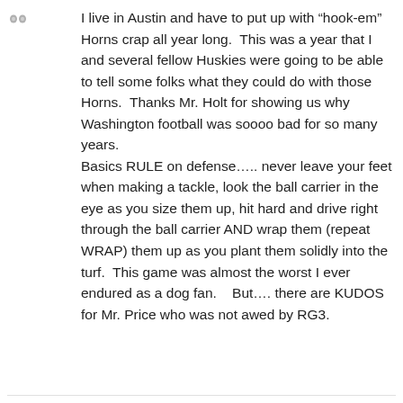[Figure (illustration): Two small gray avatar/profile placeholder icons side by side in the top-left corner]
I live in Austin and have to put up with “hook-em” Horns crap all year long.  This was a year that I and several fellow Huskies were going to be able to tell some folks what they could do with those Horns.  Thanks Mr. Holt for showing us why Washington football was soooo bad for so many years.
Basics RULE on defense….. never leave your feet when making a tackle, look the ball carrier in the eye as you size them up, hit hard and drive right through the ball carrier AND wrap them (repeat WRAP) them up as you plant them solidly into the turf.  This game was almost the worst I ever endured as a dog fan.    But…. there are KUDOS for Mr. Price who was not awed by RG3.